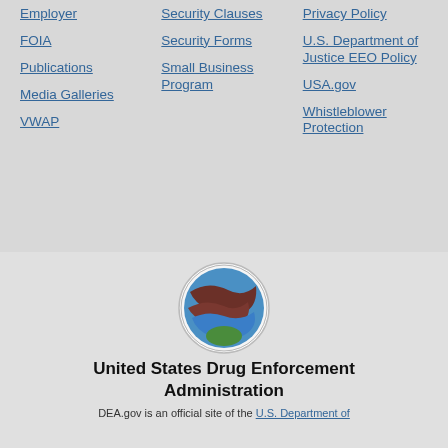Employer
FOIA
Publications
Media Galleries
VWAP
Security Clauses
Security Forms
Small Business Program
Privacy Policy
U.S. Department of Justice EEO Policy
USA.gov
Whistleblower Protection
[Figure (logo): U.S. Department of Justice Drug Enforcement Administration circular seal logo]
United States Drug Enforcement Administration
DEA.gov is an official site of the U.S. Department of